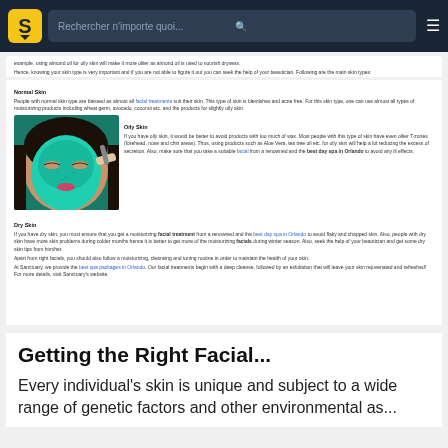Rechercher n'importe quoi...
example, using almond oil for oily skin will make it more oilier as almond oil is used to nourish dryness.

Hence, knowing your skin type is very important and if you are not able to figure it out you can seek the help of your beautician. Following are the main skin types:
Normal Skin
People with normal skin type are blessed as almost all facial treatments suit their skin. This type of skin is blemishes and acne free. For this skin type, one can use almost all types of moisturizing products including wheat germ, avocado, coconut etc. and the products for slightly oily skin.
[Figure (photo): Woman receiving a facial mask treatment with teal/green colored mask applied to her face]
Oily Skin
If you have oily skin, it would be better to avoid products with too much of wax. Most people with this type of skin have even oilier T-zones (forehead, nose and chin areas). Thus, using products such as Aloe Vera, tea tree oil etc. for oily skin will help a lot reducing the excess of secretion. Also, make sure that you take a suitable facial from a renowned and the best day spa in Orlando to avoid any ill effects.
Dry Skin
If you have dry skin, you must ensure that you get a moisturizing facial treatment from a renowned and the best day spa in Orlando to avoid flaky and chapped skin. Also, people with dry skin have more skin problems during colder months hence it is better to get more of the moisturizing facials during winter season. Also, seek the help of your beautician and get some dry skin tips from him/her.

Apart from right facials, you should also follow a moisturizing, cleansing and toning routine in order to maintain the health of your skin.

At Sancluary, we provide the best spa packages in Orlando. Our facial treatments begin with a deep cleanse, followed by an exfoliation that will leave your skin rejuvenated and refreshed! For more details, visit Sanctuary's website.
Getting the Right Facial...
Every individual's skin is unique and subject to a wide range of genetic factors and other environmental as...